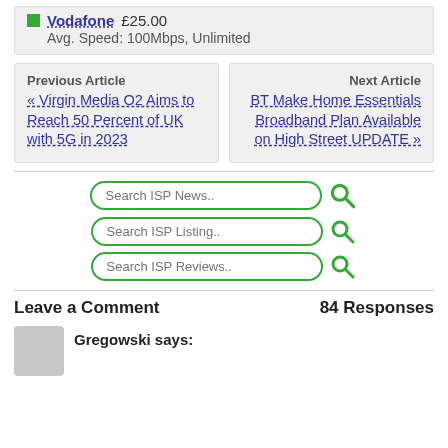Vodafone £25.00 Avg. Speed: 100Mbps, Unlimited
Previous Article « Virgin Media O2 Aims to Reach 50 Percent of UK with 5G in 2023
Next Article BT Make Home Essentials Broadband Plan Available on High Street UPDATE »
Search ISP News..
Search ISP Listing..
Search ISP Reviews..
Leave a Comment   84 Responses
Gregowski says: